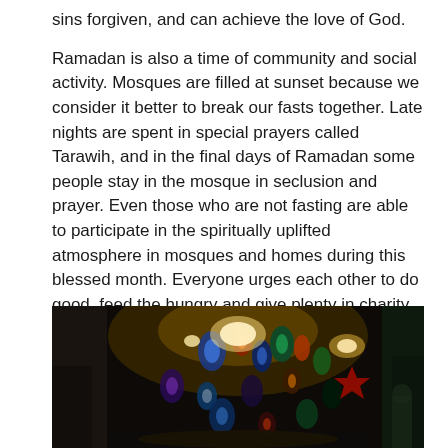sins forgiven, and can achieve the love of God.

Ramadan is also a time of community and social activity. Mosques are filled at sunset because we consider it better to break our fasts together. Late nights are spent in special prayers called Tarawih, and in the final days of Ramadan some people stay in the mosque in seclusion and prayer. Even those who are not fasting are able to participate in the spiritually uplifted atmosphere in mosques and homes during this blessed month. Everyone urges each other to do good, feed the hungry and give plenty in charity, for all good deeds are richly rewarded during this month.
[Figure (photo): A nighttime photograph of a market or bazaar filled with colorful hanging lanterns and lights, typical of Ramadan decorations. The scene is densely packed with ornate Moroccan-style lanterns in blues, greens, reds, and whites, illuminated against a dark background, with stone walls visible on the sides.]